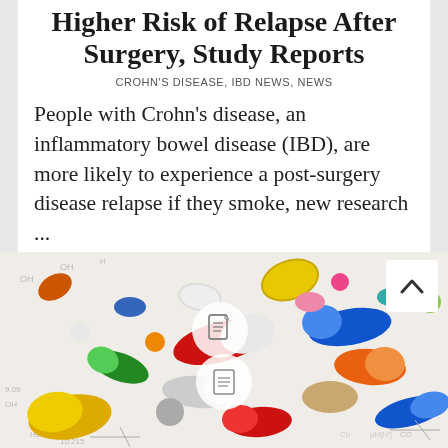Higher Risk of Relapse After Surgery, Study Reports
CROHN'S DISEASE, IBD NEWS, NEWS
People with Crohn's disease, an inflammatory bowel disease (IBD), are more likely to experience a post-surgery disease relapse if they smoke, new research ...
Read more
[Figure (photo): Colorful assorted pills, capsules, and tablets scattered on a surface with chemical formula diagrams]